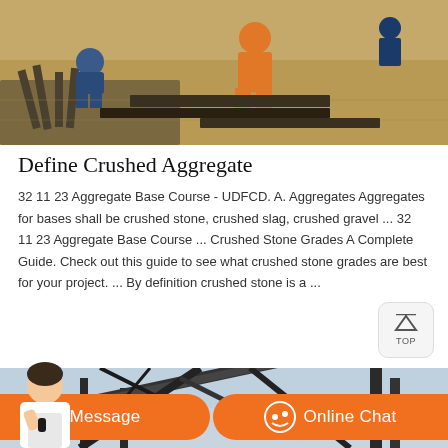[Figure (photo): Construction workers on a building site, one in orange jumpsuit, working with rebar and building materials on sandy ground]
Define Crushed Aggregate
32 11 23 Aggregate Base Course - UDFCD. A. Aggregates Aggregates for bases shall be crushed stone, crushed slag, crushed gravel ... 32 11 23 Aggregate Base Course ... Crushed Stone Grades A Complete Guide. Check out this guide to see what crushed stone grades are best for your project. ... By definition crushed stone is a ...
[Figure (photo): Industrial machinery or conveyor structure for crushed aggregate processing against a cloudy sky]